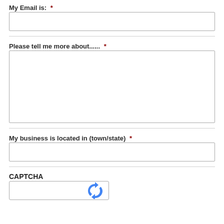My Email is:  *
[Figure (other): Empty single-line text input box for email]
Please tell me more about......  *
[Figure (other): Empty multi-line textarea input box]
My business is located in (town/state)  *
[Figure (other): Empty single-line text input box for business location]
CAPTCHA
[Figure (other): CAPTCHA widget box with reCAPTCHA logo/arrow icon visible at bottom right]